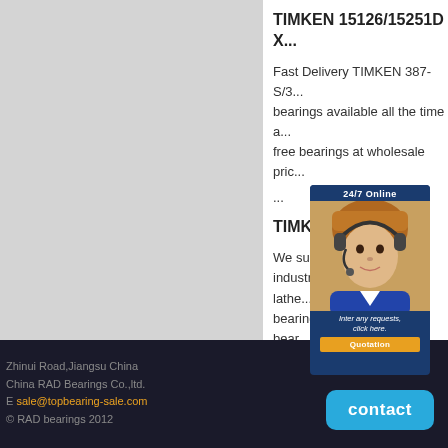TIMKEN 15126/15251D X...
Fast Delivery TIMKEN 387-S/3... bearings available all the time a... free bearings at wholesale pric...
...
TIMKEN 15126/1...
We supply high-qua... industrial machinery, CNC lathe... bearing: deep groove ball bear...
[Figure (photo): Customer service representative chat widget overlay showing a woman with headset, '24/7 Online' header, message 'Inter any requests, click here.' and a yellow 'Quotation' button]
Zhinui Road,Jiangsu China
China RAD Bearings Co.,ltd.
E sale@topbearing-sale.com
© RAD bearings 2012